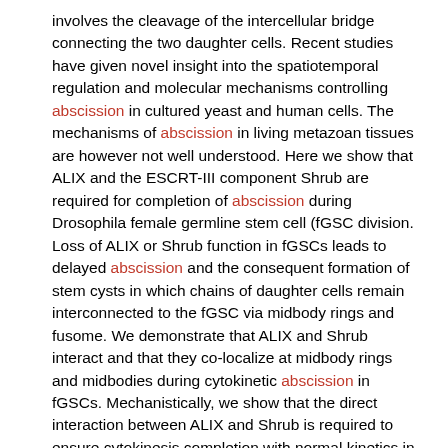involves the cleavage of the intercellular bridge connecting the two daughter cells. Recent studies have given novel insight into the spatiotemporal regulation and molecular mechanisms controlling abscission in cultured yeast and human cells. The mechanisms of abscission in living metazoan tissues are however not well understood. Here we show that ALIX and the ESCRT-III component Shrub are required for completion of abscission during Drosophila female germline stem cell (fGSC division. Loss of ALIX or Shrub function in fGSCs leads to delayed abscission and the consequent formation of stem cysts in which chains of daughter cells remain interconnected to the fGSC via midbody rings and fusome. We demonstrate that ALIX and Shrub interact and that they co-localize at midbody rings and midbodies during cytokinetic abscission in fGSCs. Mechanistically, we show that the direct interaction between ALIX and Shrub is required to ensure cytokinesis completion with normal kinetics in fGSCs. We conclude that ALIX and ESCRT-III coordinately control abscission in Drosophila fGSCs and that their complex formation is required for accurate abscission timing in GSCs in vivo.
10. Endogenous auxin regulates the sensitivity of Dendrobium (cv.